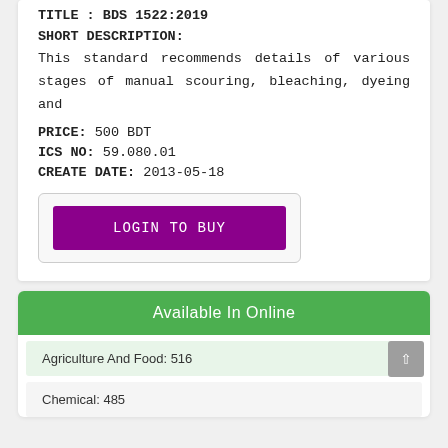TITLE : BDS 1522:2019
SHORT DESCRIPTION:
This standard recommends details of various stages of manual scouring, bleaching, dyeing and
PRICE: 500 BDT
ICS NO: 59.080.01
CREATE DATE: 2013-05-18
LOGIN TO BUY
Available In Online
Agriculture And Food: 516
Chemical: 485